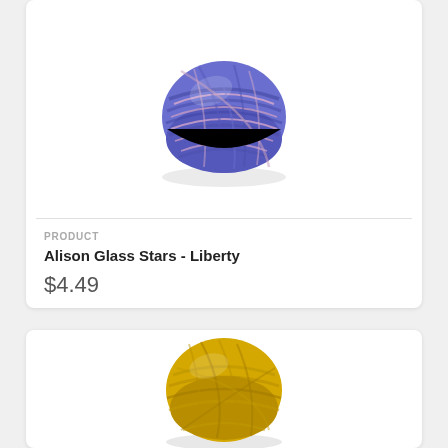[Figure (photo): A ball of blue and pink variegated thread/floss wound into a compact skein, photographed on white background.]
PRODUCT
Alison Glass Stars - Liberty
$4.49
[Figure (photo): A ball of golden yellow thread/floss wound into a compact skein, photographed on white background.]